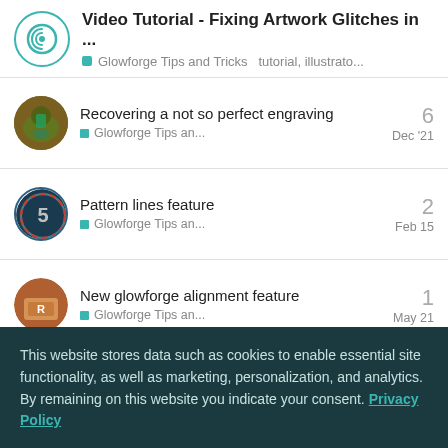Video Tutorial - Fixing Artwork Glitches in ... | Glowforge Tips and Tricks  tutorial, illustrato...
Recovering a not so perfect engraving | Glowforge Tips an... | 6 | Dec '21
Pattern lines feature | Glowforge Tips an... | 2 | Feb 15
New glowforge alignment feature | Glowforge Tips an... | 1 | May 21
Are you an idiot? | 17
This website stores data such as cookies to enable essential site functionality, as well as marketing, personalization, and analytics. By remaining on this website you indicate your consent. Privacy Policy